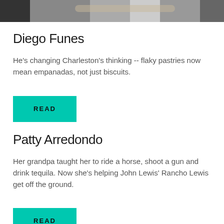[Figure (photo): Partial photo at top of page showing what appears to be food preparation, dark and light tones.]
Diego Funes
He's changing Charleston's thinking -- flaky pastries now mean empanadas, not just biscuits.
READ
Patty Arredondo
Her grandpa taught her to ride a horse, shoot a gun and drink tequila. Now she's helping John Lewis' Rancho Lewis get off the ground.
READ